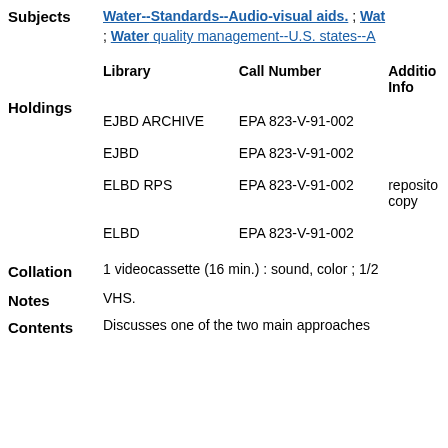Subjects: Water--Standards--Audio-visual aids. ; Water quality management--U.S. states--A
| Library | Call Number | Additional Info |
| --- | --- | --- |
| EJBD ARCHIVE | EPA 823-V-91-002 |  |
| EJBD | EPA 823-V-91-002 |  |
| ELBD RPS | EPA 823-V-91-002 | repository copy |
| ELBD | EPA 823-V-91-002 |  |
Collation: 1 videocassette (16 min.) : sound, color ; 1/2
Notes: VHS.
Contents: Discusses one of the two main approaches